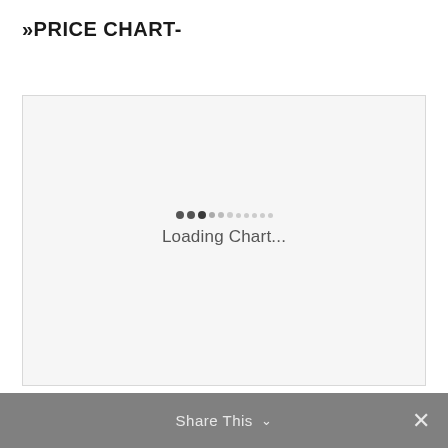»PRICE CHART-
[Figure (other): Chart loading placeholder area with a progress indicator row of dots and 'Loading Chart...' text centered in a light gray bordered box.]
Share This ∨  ✕